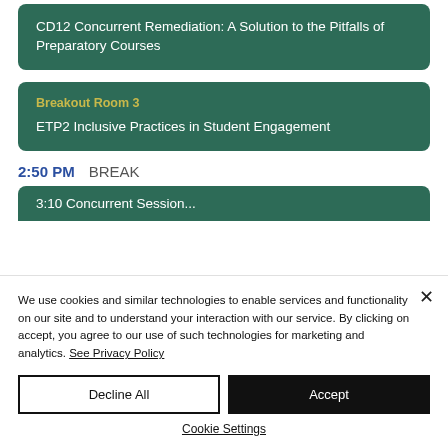CD12 Concurrent Remediation: A Solution to the Pitfalls of Preparatory Courses
Breakout Room 3
ETP2 Inclusive Practices in Student Engagement
2:50 PM  BREAK
3:10...
We use cookies and similar technologies to enable services and functionality on our site and to understand your interaction with our service. By clicking on accept, you agree to our use of such technologies for marketing and analytics. See Privacy Policy
Decline All
Accept
Cookie Settings